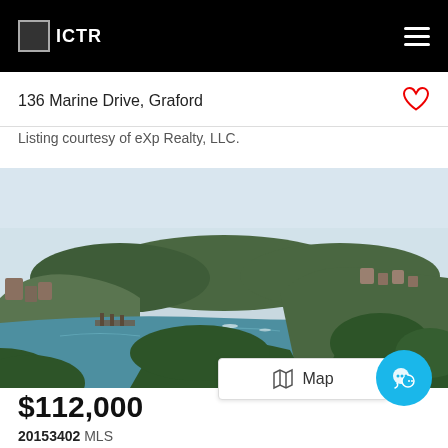ICTR
136 Marine Drive, Graford
Listing courtesy of eXp Realty, LLC.
[Figure (photo): Aerial lake view with wooded hills, a cove, and buildings along the shore under a hazy sky. Boats visible on the water.]
Map
$112,000
20153402 MLS